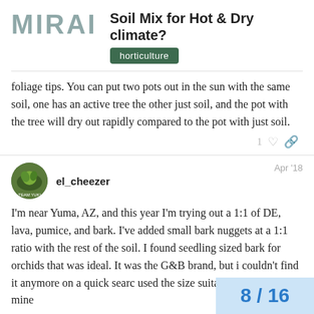MIRAI
Soil Mix for Hot & Dry climate?
horticulture
foliage tips. You can put two pots out in the sun with the same soil, one has an active tree the other just soil, and the pot with the tree will dry out rapidly compared to the pot with just soil.
el_cheezer
Apr '18
I'm near Yuma, AZ, and this year I'm trying out a 1:1 of DE, lava, pumice, and bark. I've added small bark nuggets at a 1:1 ratio with the rest of the soil. I found seedling sized bark for orchids that was ideal. It was the G&B brand, but i couldn't find it anymore on a quick searc used the size suitable for shohin on mine
8 / 16